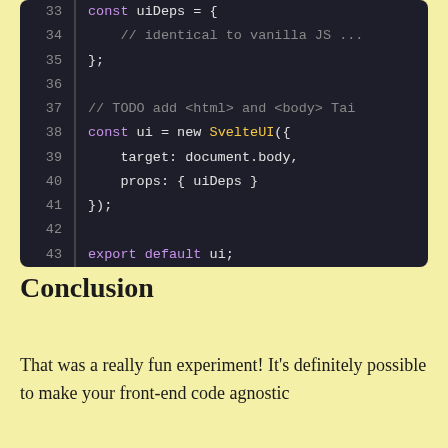[Figure (screenshot): Code editor screenshot showing JavaScript code lines 33-43 with syntax highlighting on dark background. Lines show: const uiDeps = { ... }; // TODO add <html> and <body> Tai... const ui = new SvelteUI({ target: document.body, props: { uiDeps } }); export default ui;]
Conclusion
That was a really fun experiment! It's definitely possible to make your front-end code agnostic